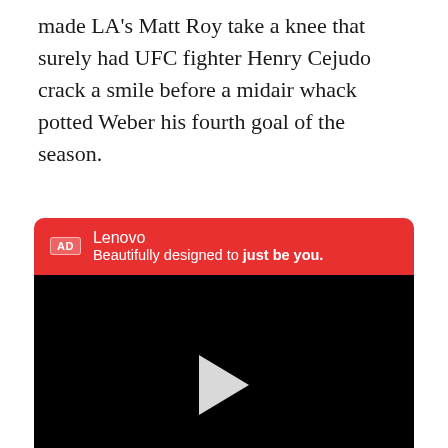made LA's Matt Roy take a knee that surely had UFC fighter Henry Cejudo crack a smile before a midair whack potted Weber his fourth goal of the season.
[Figure (screenshot): Lenovo video advertisement with red header showing 'AD' badge, brand name 'Lenovo', tagline 'Beautifully designed to just be you.' and a black video player with centered play button and bottom controls including play, volume/speaker icon, and CC button. Below is a partial pink/red image with a person's curly hair visible.]